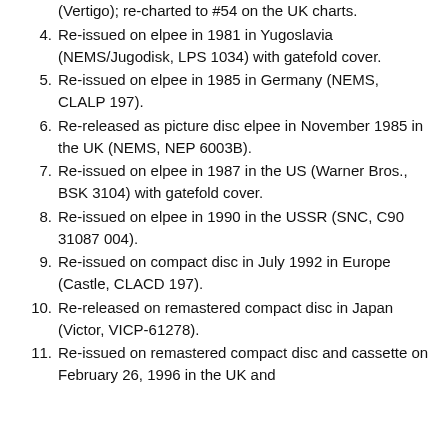(Vertigo); re-charted to #54 on the UK charts.
4. Re-issued on elpee in 1981 in Yugoslavia (NEMS/Jugodisk, LPS 1034) with gatefold cover.
5. Re-issued on elpee in 1985 in Germany (NEMS, CLALP 197).
6. Re-released as picture disc elpee in November 1985 in the UK (NEMS, NEP 6003B).
7. Re-issued on elpee in 1987 in the US (Warner Bros., BSK 3104) with gatefold cover.
8. Re-issued on elpee in 1990 in the USSR (SNC, C90 31087 004).
9. Re-issued on compact disc in July 1992 in Europe (Castle, CLACD 197).
10. Re-released on remastered compact disc in Japan (Victor, VICP-61278).
11. Re-issued on remastered compact disc and cassette on February 26, 1996 in the UK and